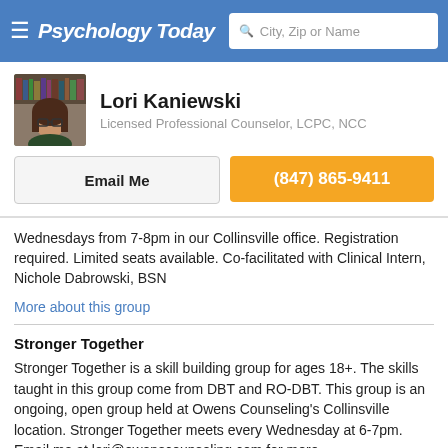Psychology Today | City, Zip or Name
[Figure (photo): Headshot photo of Lori Kaniewski, a woman with brown hair and glasses]
Lori Kaniewski
Licensed Professional Counselor, LCPC, NCC
Email Me
(847) 865-9411
Wednesdays from 7-8pm in our Collinsville office. Registration required. Limited seats available. Co-facilitated with Clinical Intern, Nichole Dabrowski, BSN
More about this group
Stronger Together
Stronger Together is a skill building group for ages 18+. The skills taught in this group come from DBT and RO-DBT. This group is an ongoing, open group held at Owens Counseling's Collinsville location. Stronger Together meets every Wednesday at 6-7pm. Email me at lori@owenscounseling.com for more